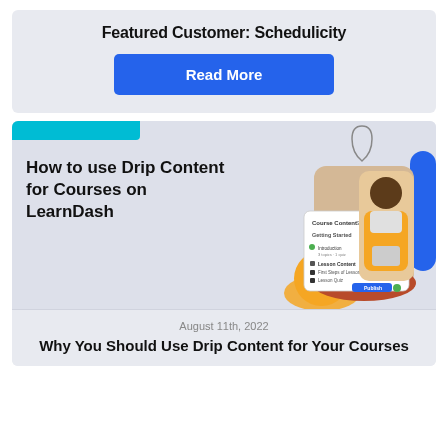Featured Customer: Schedulicity
Read More
[Figure (illustration): Article thumbnail for 'How to use Drip Content for Courses on LearnDash' with decorative shapes, a screenshot of a course content panel, and a smiling woman holding a tablet.]
August 11th, 2022
Why You Should Use Drip Content for Your Courses